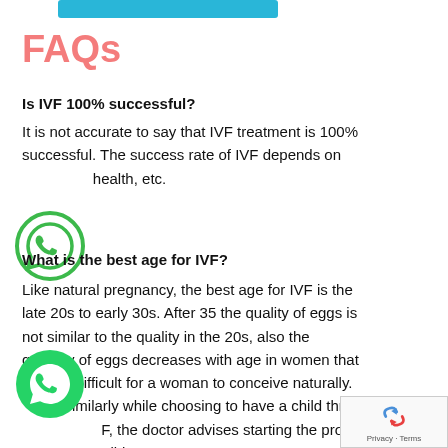[Figure (other): Cyan/teal rounded rectangle button at the top of the page]
FAQs
Is IVF 100% successful?
It is not accurate to say that IVF treatment is 100% successful. The success rate of IVF depends on health, etc.
[Figure (illustration): WhatsApp logo icon — green circle outline with phone handset inside]
What is the best age for IVF?
Like natural pregnancy, the best age for IVF is the late 20s to early 30s. After 35 the quality of eggs is not similar to the quality in the 20s, also the quantity of eggs decreases with age in women that made it difficult for a woman to conceive naturally. Similarly while choosing to have a child through IVF, the doctor advises starting the process as soon as possible.
[Figure (illustration): WhatsApp filled green circle icon with phone handset inside]
[Figure (other): reCAPTCHA widget showing rotating arrows Privacy Terms]